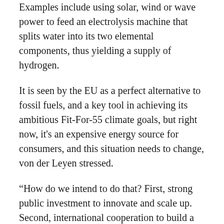Examples include using solar, wind or wave power to feed an electrolysis machine that splits water into its two elemental components, thus yielding a supply of hydrogen.
It is seen by the EU as a perfect alternative to fossil fuels, and a key tool in achieving its ambitious Fit-For-55 climate goals, but right now, it's an expensive energy source for consumers, and this situation needs to change, von der Leyen stressed.
“How do we intend to do that? First, strong public investment to innovate and scale up. Second, international cooperation to build a global market for hydrogen. And third, our partnership with the private sector and researchers,” she said.
European Commissioner for Climate Action Frans